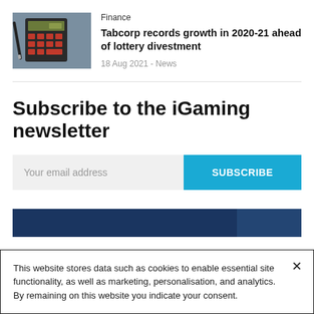[Figure (photo): Photo of a calculator with red buttons on a desk]
Finance
Tabcorp records growth in 2020-21 ahead of lottery divestment
18 Aug 2021 - News
Subscribe to the iGaming newsletter
Your email address
SUBSCRIBE
[Figure (photo): Dark blue banner strip]
This website stores data such as cookies to enable essential site functionality, as well as marketing, personalisation, and analytics. By remaining on this website you indicate your consent.